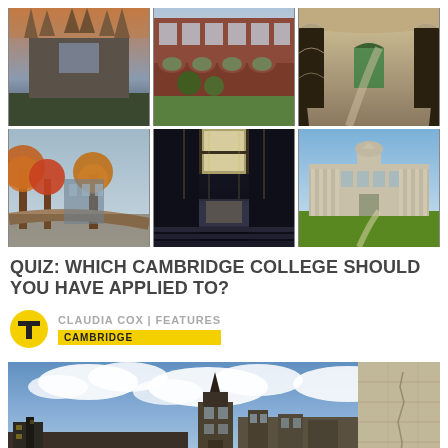[Figure (photo): 3x2 grid of Cambridge college photos: Gothic chapel, courtyard with arches, vaulted corridor, autumn trees campus, modern interior with lighting, neoclassical building with green lawn]
QUIZ: WHICH CAMBRIDGE COLLEGE SHOULD YOU HAVE APPLIED TO?
CLAUDIA COX | FEATURES
CAMBRIDGE
[Figure (photo): Cambridge college building with towers against cloudy blue sky, stone wall detail on right side]